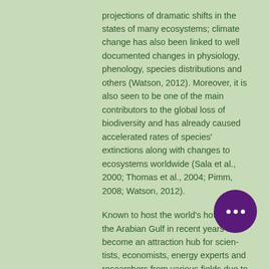projections of dramatic shifts in the states of many ecosystems; climate change has also been linked to well documented changes in physiology, phenology, species distributions and others (Watson, 2012). Moreover, it is also seen to be one of the main contributors to the global loss of biodiversity and has already caused accelerated rates of species' extinctions along with changes to ecosystems worldwide (Sala et al., 2000; Thomas et al., 2004; Pimm, 2008; Watson, 2012).
Known to host the world's hottest sea, the Arabian Gulf in recent years has become an attraction hub for scientists, economists, energy experts and researchers from various fields due to